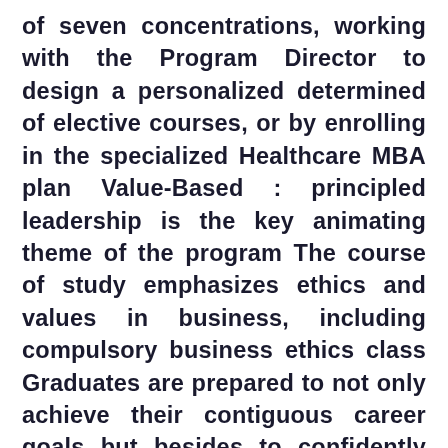of seven concentrations, working with the Program Director to design a personalized determined of elective courses, or by enrolling in the specialized Healthcare MBA plan Value-Based : principled leadership is the key animating theme of the program The course of study emphasizes ethics and values in business, including compulsory business ethics class Graduates are prepared to not only achieve their contiguous career goals but besides to confidently and ethically navigate any future career path flexibility : Courses available on campus, on-line, and blended formats Evening classes accommodate students ' away work and/or family schedules The schedule can be tailored to a scholar ' s finical needs Call us. Visit campus. Attend one of our information sessions. If you are driven to become the very best